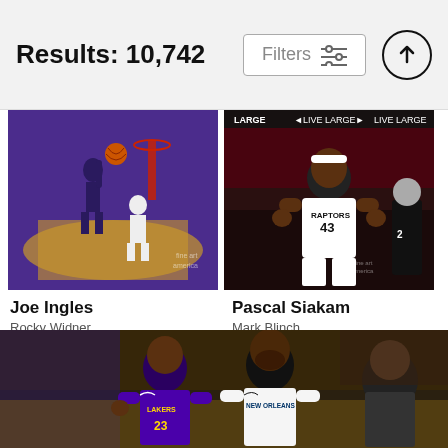Results: 10,742
Filters
[Figure (photo): Joe Ingles basketball player dunking, Sacramento Kings arena, purple court]
Joe Ingles
Rocky Widner
$9.62
[Figure (photo): Pascal Siakam Toronto Raptors #43 celebrating, arena crowd background]
Pascal Siakam
Mark Blinch
$9.62
[Figure (photo): LeBron James and Anthony Davis, Lakers vs New Orleans, arena crowd]